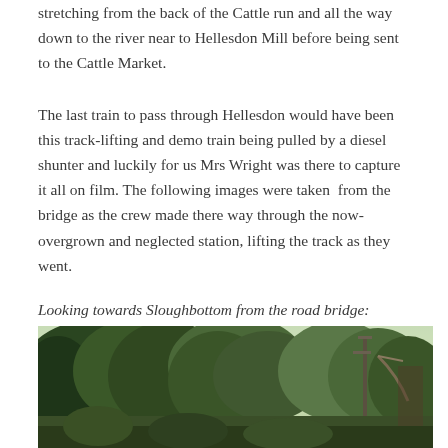stretching from the back of the Cattle run and all the way down to the river near to Hellesdon Mill before being sent to the Cattle Market.
The last train to pass through Hellesdon would have been this track-lifting and demo train being pulled by a diesel shunter and luckily for us Mrs Wright was there to capture it all on film. The following images were taken from the bridge as the crew made there way through the now-overgrown and neglected station, lifting the track as they went.
Looking towards Sloughbottom from the road bridge:
[Figure (photo): A photograph taken from a road bridge looking towards Sloughbottom, showing an overgrown, neglected railway station area with dense trees and vegetation, and what appears to be a signal post or crane visible on the right side of the image.]